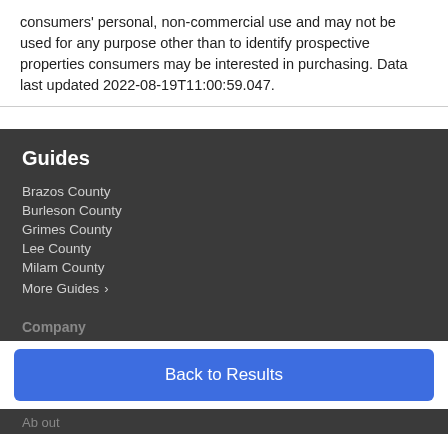consumers' personal, non-commercial use and may not be used for any purpose other than to identify prospective properties consumers may be interested in purchasing. Data last updated 2022-08-19T11:00:59.047.
Guides
Brazos County
Burleson County
Grimes County
Lee County
Milam County
More Guides ›
Company
Back to Results
Ab out